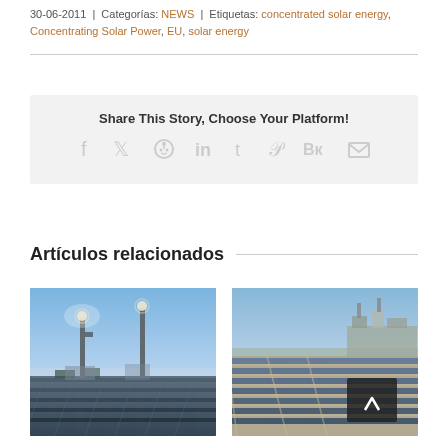30-06-2011 | Categorías: NEWS | Etiquetas: concentrated solar energy, Concentrating Solar Power, EU, solar energy
Share This Story, Choose Your Platform!
Social sharing icons: Facebook, Twitter, Reddit, LinkedIn, Tumblr, Pinterest, VK, Email
Artículos relacionados
[Figure (photo): Aerial view of a concentrated solar power tower plant with heliostats and tall tower structures, blue sky background]
[Figure (photo): Aerial view of a parabolic trough solar energy facility with rows of solar collectors and industrial buildings]